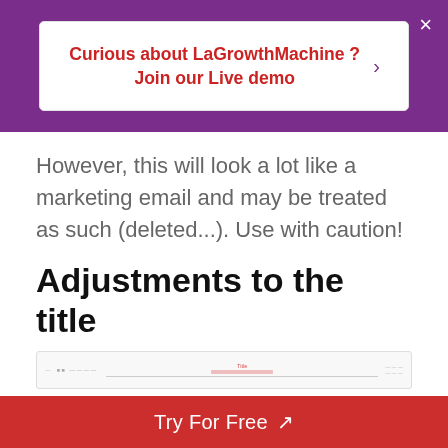[Figure (screenshot): Purple banner with white popup box containing red bold text: 'Curious about LaGrowthMachine ? Join our Live demo' with a right arrow, and a white X close button on the purple background top right]
However, this will look a lot like a marketing email and may be treated as such (deleted...). Use with caution!
Adjustments to the title
[Figure (screenshot): Thin screenshot strip showing an email client interface with a red 'Title' label and red underline box in the center, small grey text on left and right sides]
[Figure (screenshot): Phone status bar showing time 20:25 on left and signal/wifi/battery icons on right, with Mailboxes navigation link and Edit button below]
[Figure (screenshot): Bottom CTA bar in red with white text 'Try For Free' and diagonal arrow]